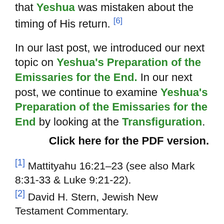that Yeshua was mistaken about the timing of His return. [6]
In our last post, we introduced our next topic on Yeshua's Preparation of the Emissaries for the End. In our next post, we continue to examine Yeshua's Preparation of the Emissaries for the End by looking at the Transfiguration.
Click here for the PDF version.
[1] Mattityahu 16:21–23 (see also Mark 8:31-33 & Luke 9:21-22).
[2] David H. Stern, Jewish New Testament Commentary.